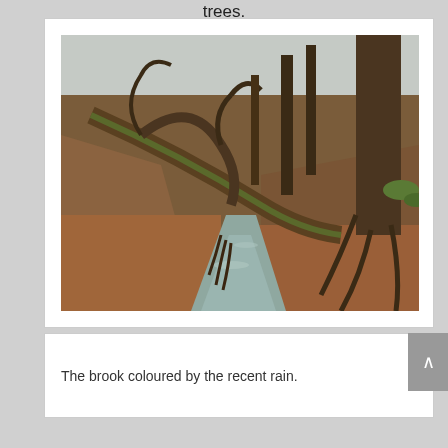trees.
[Figure (photo): A brook or small stream running through a woodland scene. Fallen and leaning moss-covered trees line the banks, with exposed roots visible. The ground is covered in autumn/winter leaf litter. The water appears murky/coloured from recent rain. Bare deciduous trees in background.]
The brook coloured by the recent rain.